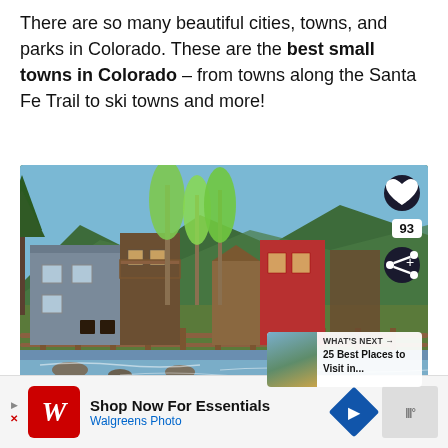There are so many beautiful cities, towns, and parks in Colorado. These are the best small towns in Colorado – from towns along the Santa Fe Trail to ski towns and more!
[Figure (photo): Photo of small historic wooden buildings along a creek or river in a Colorado mountain town, surrounded by green aspen and pine trees, with mountain slopes in the background. Rustic wooden fence in foreground. UI overlays include a heart/save button, share button with count 93, and a 'What's Next' thumbnail card showing '25 Best Places to Visit in...']
Shop Now For Essentials Walgreens Photo